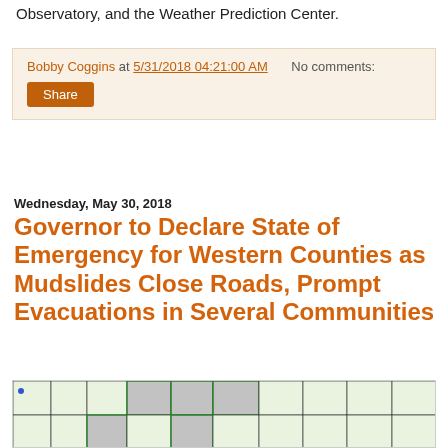Observatory, and the Weather Prediction Center.
Bobby Coggins at 5/31/2018 04:21:00 AM   No comments:
Share
Wednesday, May 30, 2018
Governor to Declare State of Emergency for Western Counties as Mudslides Close Roads, Prompt Evacuations in Several Communities
[Figure (map): Flood Advisories Watches and Warnings in WNC, May 30, 2018. Map showing Western North Carolina counties with flood watch/warning areas outlined in green and shaded in gray.]